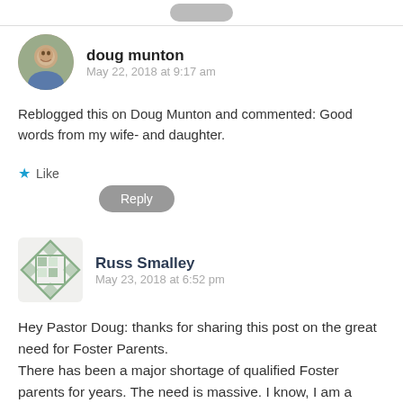doug munton
May 22, 2018 at 9:17 am
Reblogged this on Doug Munton and commented: Good words from my wife- and daughter.
Like
Reply
Russ Smalley
May 23, 2018 at 6:52 pm
Hey Pastor Doug: thanks for sharing this post on the great need for Foster Parents.
There has been a major shortage of qualified Foster parents for years. The need is massive. I know, I am a product of the foster home system. I lived in 4-5 homes starting at age 4 when my own mother decided she was unable to care for me.